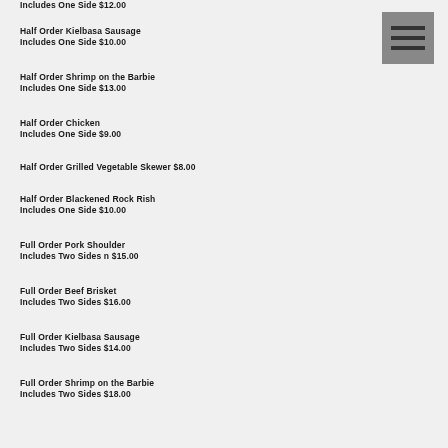Includes One Side $12.00
Half Order Kielbasa Sausage
Includes One Side $10.00
Half Order Shrimp on the Barbie
Includes One Side $13.00
Half Order Chicken
Includes One Side $9.00
Half Order Grilled Vegetable Skewer $8.00
Half Order Blackened Rock Rish
Includes One Side $10.00
Full Order Pork Shoulder
Includes Two Sides n $15.00
Full Order Beef Brisket
Includes Two Sides $16.00
Full Order Kielbasa Sausage
Includes Two Sides $14.00
Full Order Shrimp on the Barbie
Includes Two Sides $18.00